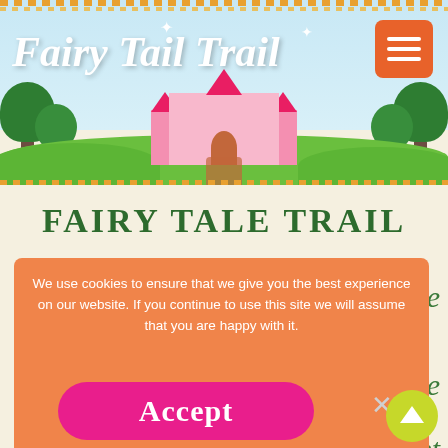[Figure (screenshot): Fairy Tail Trail website header with castle, trees, green hills, and site logo text 'Fairy Tail Trail' with hamburger menu icon]
FAIRY TALE TRAIL
s in the
We use cookies to ensure that we give you the best experience on our website. If you continue to use this site we will assume that you are happy with it.
Accept
ee code
Read more
to get